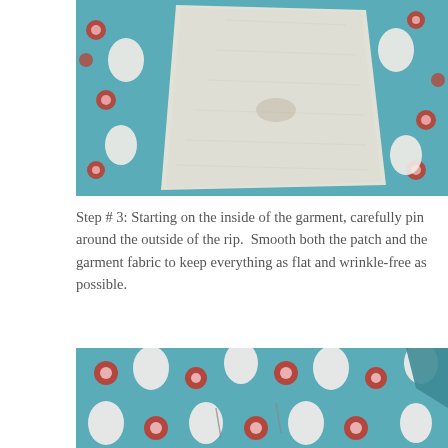[Figure (photo): A white fabric patch laid on top of teal/blue floral fabric with red and white flower and cat/bird motifs, showing the patch being positioned over a rip in a garment, viewed from inside.]
Step # 3: Starting on the inside of the garment, carefully pin around the outside of the rip.  Smooth both the patch and the garment fabric to keep everything as flat and wrinkle-free as possible.
[Figure (photo): Close-up of teal/blue floral fabric with red and white flower and cat motifs, showing the outside of the garment with pins visible around the rip area after pinning.]